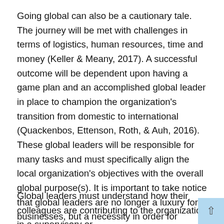Going global can also be a cautionary tale. The journey will be met with challenges in terms of logistics, human resources, time and money (Keller & Meany, 2017). A successful outcome will be dependent upon having a game plan and an accomplished global leader in place to champion the organization's transition from domestic to international (Quackenbos, Ettenson, Roth, & Auh, 2016). These global leaders will be responsible for many tasks and must specifically align the local organization's objectives with the overall global purpose(s). It is important to take notice that global leaders are no longer a luxury for businesses, but a necessity in order for organizations to survive in the global arena (Engesland, 2014).
Global leaders must understand how their colleagues are contributing to the organization in a supervisory or